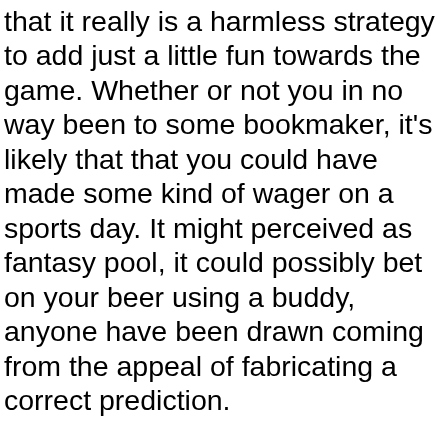that it really is a harmless strategy to add just a little fun towards the game. Whether or not you in no way been to some bookmaker, it's likely that that you could have made some kind of wager on a sports day. It might perceived as fantasy pool, it could possibly bet on your beer using a buddy, anyone have been drawn coming from the appeal of fabricating a correct prediction.
Sports teams are not every created effectively. Often, the likely winner of your respective game is thought before sport is even played. Let us check the University of Alabama Crimson Tide football team, one of faculty football's most dominant departments. And let's assume that these kind of are playing opposed to the University of Toledo Rockets football team, which hails from a smaller and less established academic. The Crimson Tide